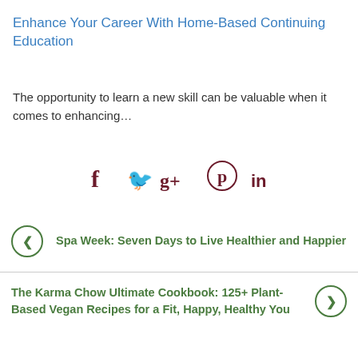Enhance Your Career With Home-Based Continuing Education
The opportunity to learn a new skill can be valuable when it comes to enhancing…
[Figure (infographic): Social media share icons: Facebook (f), Twitter (bird), Google+ (g+), Pinterest (P), LinkedIn (in) in dark maroon color]
Spa Week: Seven Days to Live Healthier and Happier
The Karma Chow Ultimate Cookbook: 125+ Plant-Based Vegan Recipes for a Fit, Happy, Healthy You